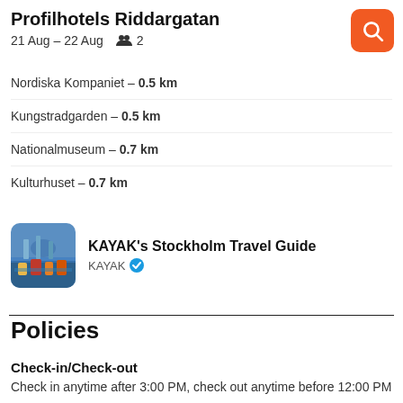Profilhotels Riddargatan
21 Aug – 22 Aug  👥 2
Nordiska Kompaniet – 0.5 km
Kungstradgarden – 0.5 km
Nationalmuseum – 0.7 km
Kulturhuset – 0.7 km
[Figure (photo): Thumbnail photo of Stockholm cityscape with water and colorful buildings]
KAYAK's Stockholm Travel Guide
KAYAK ✓
Policies
Check-in/Check-out
Check in anytime after 3:00 PM, check out anytime before 12:00 PM